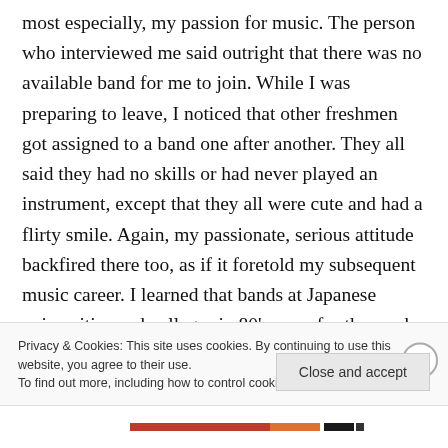most especially, my passion for music. The person who interviewed me said outright that there was no available band for me to join. While I was preparing to leave, I noticed that other freshmen got assigned to a band one after another. They all said they had no skills or had never played an instrument, except that they all were cute and had a flirty smile. Again, my passionate, serious attitude backfired there too, as if it foretold my subsequent music career. I learned that bands at Japanese universities and colleges in 80's were for those who just wanted to enjoy a
Privacy & Cookies: This site uses cookies. By continuing to use this website, you agree to their use.
To find out more, including how to control cookies, see here: Cookie Policy